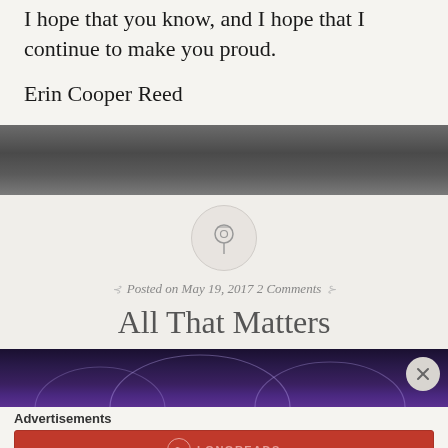I hope that you know, and I hope that I continue to make you proud.
Erin Cooper Reed
[Figure (photo): Dark gray textured band separator]
[Figure (illustration): Pin/pushpin icon inside a light circle]
Posted on May 19, 2017 2 Comments
All That Matters
[Figure (photo): Dark purple gradient preview image with arc shapes]
Advertisements
[Figure (logo): Longreads advertisement banner — The best stories on the web — ours, and everyone else's.]